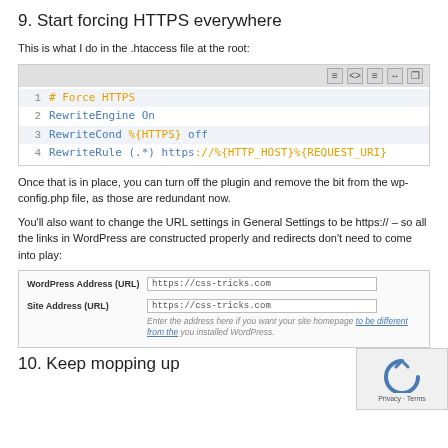9. Start forcing HTTPS everywhere
This is what I do in the .htaccess file at the root:
[Figure (screenshot): Code block showing 4 lines of Apache .htaccess HTTPS redirect rules: # Force HTTPS, RewriteEngine On, RewriteCond %{HTTPS} off, RewriteRule (.*) https://%{HTTP_HOST}%{REQUEST_URI}]
Once that is in place, you can turn off the plugin and remove the bit from the wp-config.php file, as those are redundant now.
You'll also want to change the URL settings in General Settings to be https:// – so all the links in WordPress are constructed properly and redirects don't need to come into play:
[Figure (screenshot): WordPress General Settings screenshot showing WordPress Address (URL) and Site Address (URL) both set to https://css-tricks.com, with a note about site homepage]
10. Keep mopping up